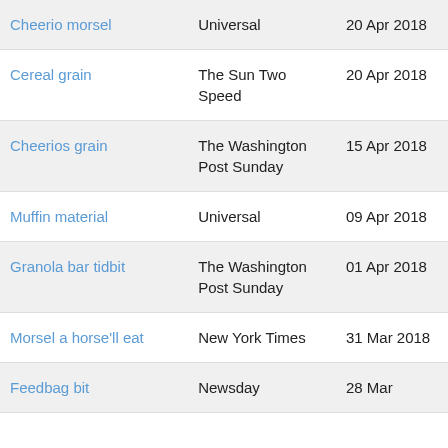| Cheerio morsel | Universal | 20 Apr 2018 |
| Cereal grain | The Sun Two Speed | 20 Apr 2018 |
| Cheerios grain | The Washington Post Sunday | 15 Apr 2018 |
| Muffin material | Universal | 09 Apr 2018 |
| Granola bar tidbit | The Washington Post Sunday | 01 Apr 2018 |
| Morsel a horse'll eat | New York Times | 31 Mar 2018 |
| Feedbag bit | Newsday | 28 Mar |